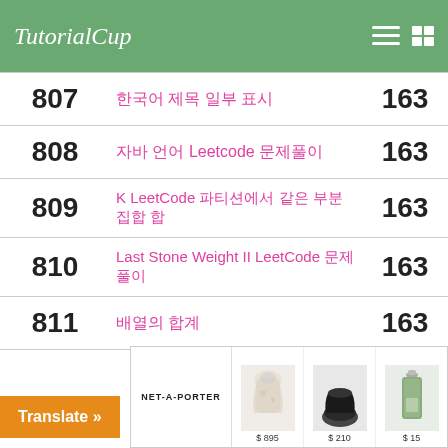TutorialCup
| # | Title | Page |
| --- | --- | --- |
| 807 | 한국어 제목 일부 표시 | 163 |
| 808 | 자바 언어 Leetcode 문제풀이 | 163 |
| 809 | K LeetCode 파티션에서 같은 부분 집합 합 | 163 |
| 810 | Last Stone Weight II LeetCode 문제풀이 | 163 |
| 811 | 배열의 합계 | 163 |
| 812 | 두 정수의 합이 연속된 배열로 이루어진 가장 큰 부분 | 163 |
[Figure (other): NET-A-PORTER advertisement banner with three products: a floral dress ($895), black shoes ($210), and a green perfume bottle ($15)]